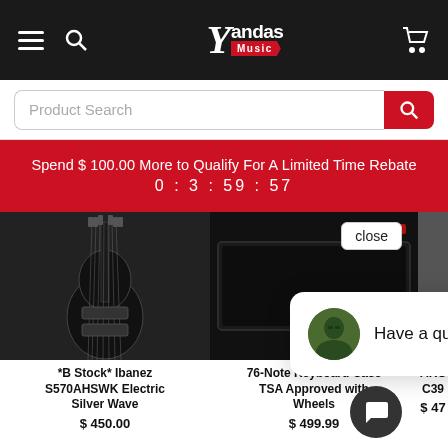Yandas Music
Product Search
Spend $ 100.00 More to Qualify For A Limited Time Rebate
0 : 3 : 59 : 57
[Figure (screenshot): Product card: *B Stock* Ibanez S570AHSWK Electric Silver Wave, $450.00]
[Figure (screenshot): Product card: 76-Note Keyboard Case TSA Approved with Wheels, $499.99]
[Figure (screenshot): Product card: AKG C39 (partial), $47 (partial)]
close
Have a question?